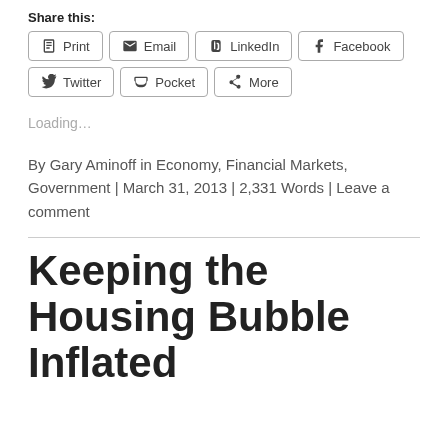Share this:
Print | Email | LinkedIn | Facebook | Twitter | Pocket | More
Loading...
By Gary Aminoff in Economy, Financial Markets, Government | March 31, 2013 | 2,331 Words | Leave a comment
Keeping the Housing Bubble Inflated